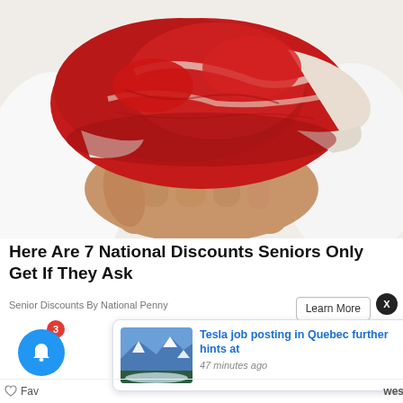[Figure (photo): A hand holding a large raw red cut of beef/meat, wearing a white coat or gloves, photographed from below against a white background]
Here Are 7 National Discounts Seniors Only Get If They Ask
Senior Discounts By National Penny
Learn More
[Figure (screenshot): A notification popup card showing a thumbnail of a snowy mountain landscape and the text 'Tesla job posting in Quebec further hints at' with timestamp '47 minutes ago']
Tesla job posting in Quebec further hints at
47 minutes ago
Fav
west